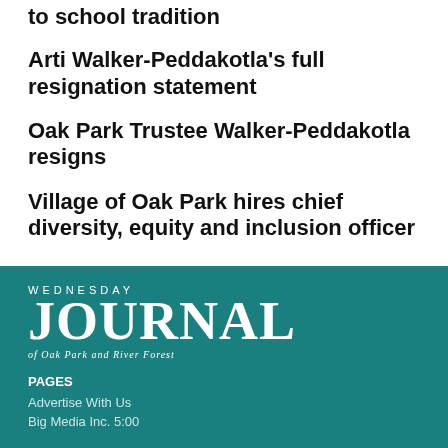to school tradition
Arti Walker-Peddakotla's full resignation statement
Oak Park Trustee Walker-Peddakotla resigns
Village of Oak Park hires chief diversity, equity and inclusion officer
[Figure (logo): Wednesday Journal of Oak Park and River Forest logo in white on teal background]
PAGES
Advertise With Us
Big Media Inc. 5:00